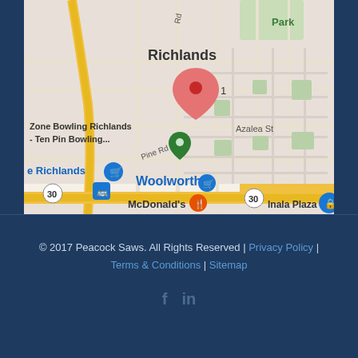[Figure (map): Google Maps screenshot showing Richlands area in Queensland, Australia. A red location pin marker is visible in the center of Richlands suburb. Nearby landmarks include Zone Bowling Richlands - Ten Pin Bowling (green marker), Woolworths (blue shopping cart marker), McDonald's (orange food marker), and Inala Plaza (blue lock marker). Roads shown include Pine Rd and Azalea St. Route 30 is marked on yellow roads.]
© 2017 Peacock Saws. All Rights Reserved | Privacy Policy | Terms & Conditions | Sitemap